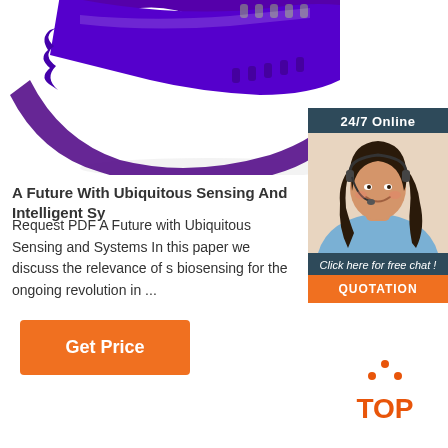[Figure (photo): Purple silicone wristband/fitness tracker band photographed close-up on white background]
[Figure (photo): 24/7 Online chat widget with photo of smiling woman wearing headset, dark teal background, 'Click here for free chat!' text and orange QUOTATION button]
A Future With Ubiquitous Sensing And Intelligent Sy
Request PDF A Future with Ubiquitous Sensing and Systems In this paper we discuss the relevance of s biosensing for the ongoing revolution in ...
[Figure (other): Orange 'Get Price' button]
[Figure (logo): TOP logo with orange dots arranged in triangle above the word TOP in orange]